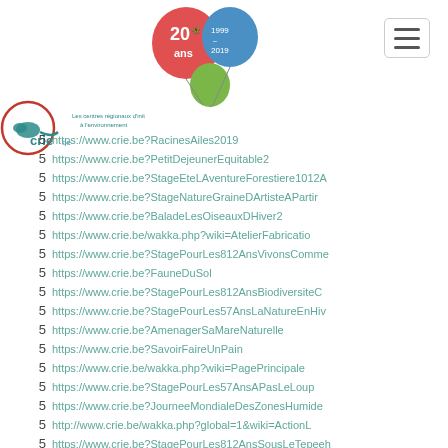[Figure (logo): CRIE.be logo with 20 ans 1999-2019 balloon celebration graphic and lizard mascot]
5  https://www.crie.be?RacinesAiles2019
5  https://www.crie.be?PetitDejeunerEquitable2
5  https://www.crie.be?StageEteLAventureForestiere1012A
5  https://www.crie.be?StageNatureGraineDArtisteAPartir
5  https://www.crie.be?BaladeLesOiseauxDHiver2
5  https://www.crie.be/wakka.php?wiki=AtelierFabricatio
5  https://www.crie.be?StagePourLes812AnsVivonsComme
5  https://www.crie.be?FauneDuSol
5  https://www.crie.be?StagePourLes812AnsBiodiversiteC
5  https://www.crie.be?StagePourLes57AnsLaNatureEnHiv
5  https://www.crie.be?AmenagerSaMareNaturelle
5  https://www.crie.be?SavoirFaireUnPain
5  https://www.crie.be/wakka.php?wiki=PagePrincipale
5  https://www.crie.be?StagePourLes57AnsAPasLeLoup
5  https://www.crie.be?JourneeMondialeDesZonesHumide
5  http://www.crie.be/wakka.php?global=1&wiki=ActionL
5  https://www.crie.be?StagePourLes812AnsSousLeTepeeh
5  http://www.crie.be/wakka.php?global=1&wiki=IndexDe
5  https://www.crie.be?StagePourLes912AnsMoyenAge
5  http://www.crie.be/wakka.php?global=1&wiki=Actio...